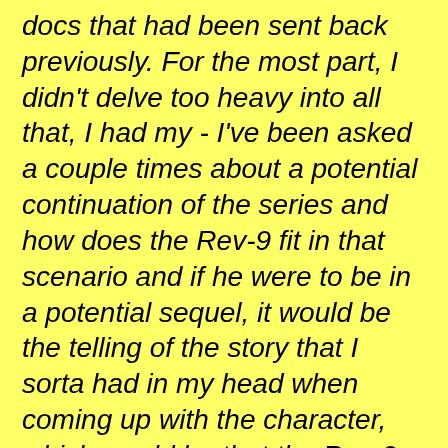docs that had been sent back previously. For the most part, I didn't delve too heavy into all that, I had my - I've been asked a couple times about a potential continuation of the series and how does the Rev-9 fit in that scenario and if he were to be in a potential sequel, it would be the telling of the story that I sorta had in my head when coming up with the character, which would be that the Rev-9 was sourced from the energy or likeness of potentially a great leader, a great human warrior that had been fighting against the machines in the future and was ultimately absorbed and his identity assumed, utilized and weaponized by the machines to use against the humans.

For me, that's what he was, one that's